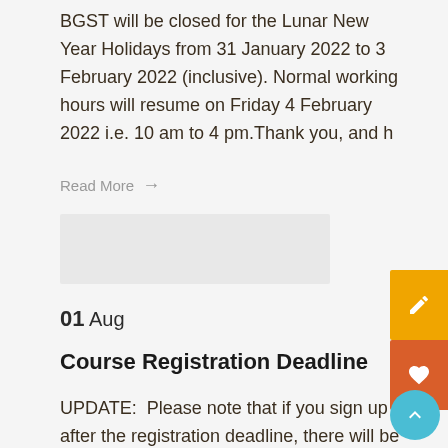BGST will be closed for the Lunar New Year Holidays from 31 January 2022 to 3 February 2022 (inclusive). Normal working hours will resume on Friday 4 February 2022 i.e. 10 am to 4 pm.Thank you, and h
Read More →
01 Aug
Course Registration Deadline
UPDATE:  Please note that if you sign up after the registration deadline, there will be a Late Registration Charge of $10 per course.  Thank you. Please note that there is a reg